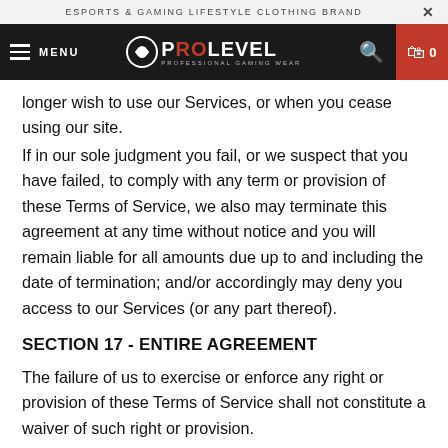ESPORTS & GAMING LIFESTYLE CLOTHING BRAND
[Figure (logo): ProLevel Professional Gaming Wear logo with hamburger menu and cart icon on dark navigation bar]
longer wish to use our Services, or when you cease using our site.
If in our sole judgment you fail, or we suspect that you have failed, to comply with any term or provision of these Terms of Service, we also may terminate this agreement at any time without notice and you will remain liable for all amounts due up to and including the date of termination; and/or accordingly may deny you access to our Services (or any part thereof).
SECTION 17 - ENTIRE AGREEMENT
The failure of us to exercise or enforce any right or provision of these Terms of Service shall not constitute a waiver of such right or provision.
These Terms of Service and any policies or operating rules